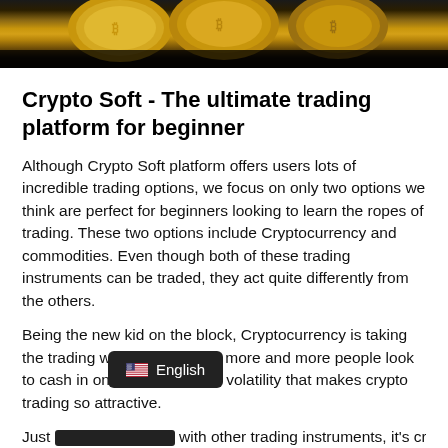[Figure (photo): Photo of gold Bitcoin coins stacked on a dark surface, cropped at top]
Crypto Soft - The ultimate trading platform for beginner
Although Crypto Soft platform offers users lots of incredible trading options, we focus on only two options we think are perfect for beginners looking to learn the ropes of trading. These two options include Cryptocurrency and commodities. Even though both of these trading instruments can be traded, they act quite differently from the others.
Being the new kid on the block, Cryptocurrency is taking the trading world by storm as more and more people look to cash in on the liquidity and volatility that makes crypto trading so attractive.
Just [obscured] with other trading instruments, it's crucial